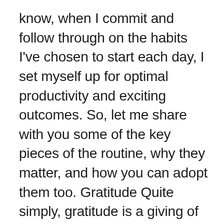know, when I commit and follow through on the habits I've chosen to start each day, I set myself up for optimal productivity and exciting outcomes. So, let me share with you some of the key pieces of the routine, why they matter, and how you can adopt them too. Gratitude Quite simply, gratitude is a giving of thanks for anything positive in your life. Extensive research has been done on the impact of gratitude in a variety of areas in our ... [Read more...]